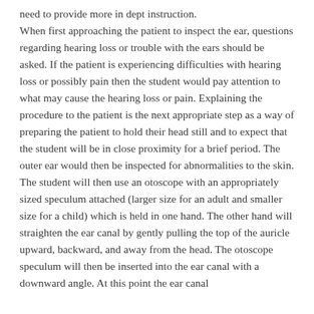need to provide more in dept instruction. When first approaching the patient to inspect the ear, questions regarding hearing loss or trouble with the ears should be asked. If the patient is experiencing difficulties with hearing loss or possibly pain then the student would pay attention to what may cause the hearing loss or pain. Explaining the procedure to the patient is the next appropriate step as a way of preparing the patient to hold their head still and to expect that the student will be in close proximity for a brief period. The outer ear would then be inspected for abnormalities to the skin. The student will then use an otoscope with an appropriately sized speculum attached (larger size for an adult and smaller size for a child) which is held in one hand. The other hand will straighten the ear canal by gently pulling the top of the auricle upward, backward, and away from the head. The otoscope speculum will then be inserted into the ear canal with a downward angle. At this point the ear canal